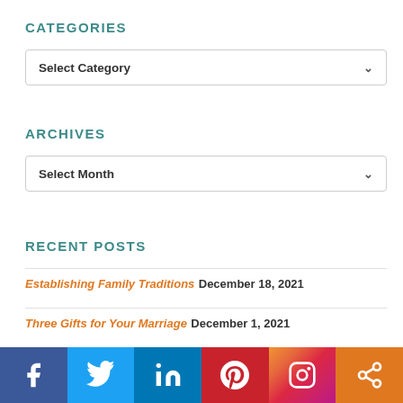CATEGORIES
[Figure (other): Dropdown selector labeled 'Select Category']
ARCHIVES
[Figure (other): Dropdown selector labeled 'Select Month']
RECENT POSTS
Establishing Family Traditions December 18, 2021
Three Gifts for Your Marriage December 1, 2021
[Figure (infographic): Social media share bar with Facebook, Twitter, LinkedIn, Pinterest, Instagram, and share icons]